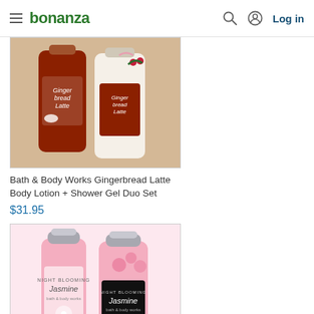bonanza  Log in
[Figure (photo): Bath & Body Works Gingerbread Latte Body Lotion and Shower Gel bottles on white background]
Bath & Body Works Gingerbread Latte Body Lotion + Shower Gel Duo Set
$31.95
[Figure (photo): Bath & Body Works Night Blooming Jasmine Body Lotion and Shower Gel bottles on pink background]